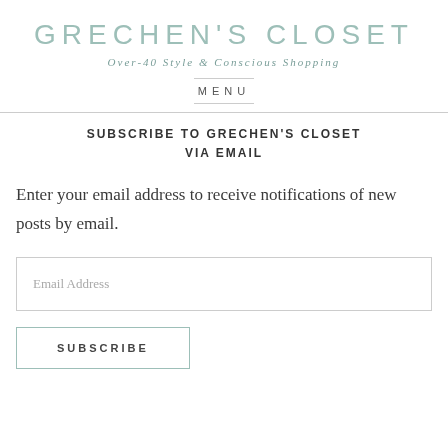GRECHEN'S CLOSET
Over-40 Style & Conscious Shopping
MENU
SUBSCRIBE TO GRECHEN'S CLOSET VIA EMAIL
Enter your email address to receive notifications of new posts by email.
Email Address
SUBSCRIBE